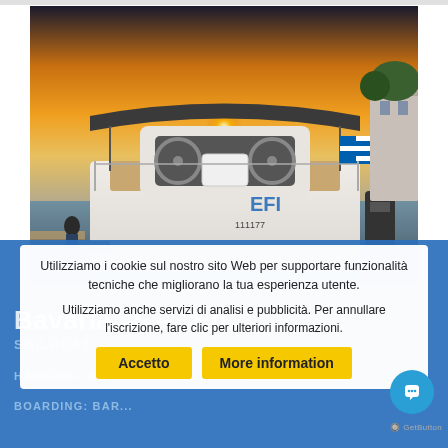[Figure (photo): Photo of a sailboat stern (Bavaria 46) moored at a marina during sunset. The boat shows its cockpit, helm, and Greek flag at dusk with warm golden light.]
Utilizziamo i cookie sul nostro sito Web per supportare funzionalità tecniche che migliorano la tua esperienza utente.
Utilizziamo anche servizi di analisi e pubblicità. Per annullare l'iscrizione, fare clic per ulteriori informazioni.
Accetto
More information
Bavaria 46 – "Efi..."
SAILBOAT
HARBOUR: ALIMOS MARINA, ATENE
BOARDING: BAR...